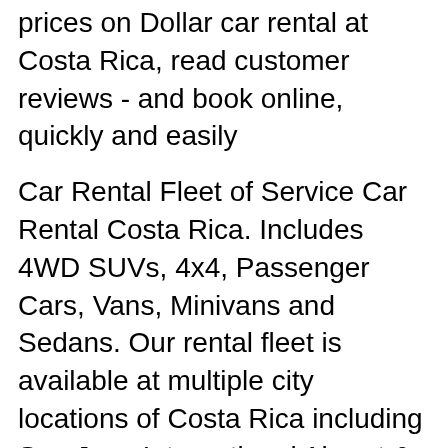prices on Dollar car rental at Costa Rica, read customer reviews - and book online, quickly and easily
Car Rental Fleet of Service Car Rental Costa Rica. Includes 4WD SUVs, 4x4, Passenger Cars, Vans, Minivans and Sedans. Our rental fleet is available at multiple city locations of Costa Rica including San Jose International Airport & Liberia International Airport. Answer 1 of 4: I rented from Thrifty at Liberia airport in January 2016, and had a very good experience. Before going on my trip I did extensive research on rental cars in CR, and was turned off and concerned due to the many negative comments and experiences...